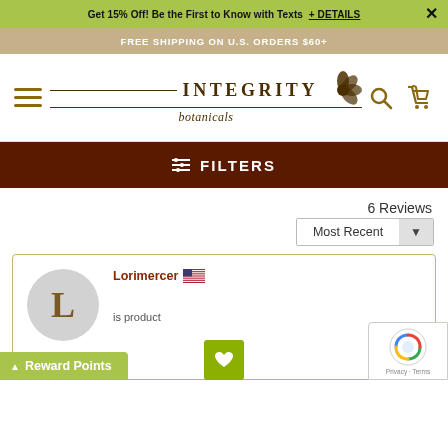Get 15% Off! Be the First to Know with Texts + DETAILS ×
FREE SHIPPING ON U.S. ORDERS $60+
INTEGRITY botanicals
FILTERS
6 Reviews
Most Recent
Lorimercer 🇺🇸
is product
Reward Points